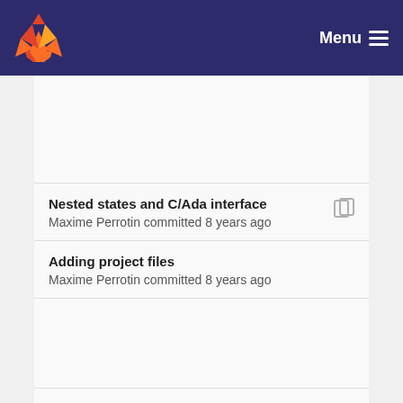Menu
Nested states and C/Ada interface — Maxime Perrotin committed 8 years ago
Adding project files — Maxime Perrotin committed 8 years ago
Partial support of nested states, with Sdl2010 syntax — Maxime Perrotin committed 8 years ago